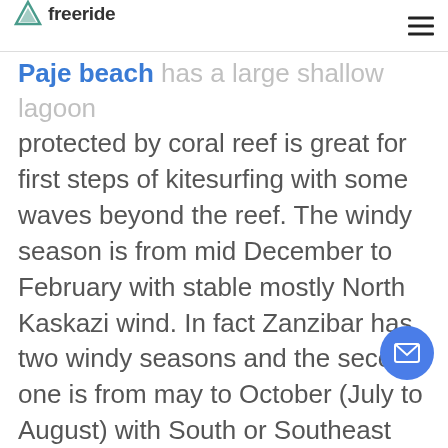freeride
The Paje beach has a large shallow lagoon protected by coral reef is great for first steps of kitesurfing with some waves beyond the reef. The windy season is from mid December to February with stable mostly North Kaskazi wind. In fact Zanzibar has two windy seasons and the second one is from may to October (July to August) with South or Southeast wind Kuzi. The season of the Kuzi winds, up to 20 knots in the morning to 28 knots in the afternoon. If you are a beginner, then there's no doubt: Paje beach is the best spot on the whole island!